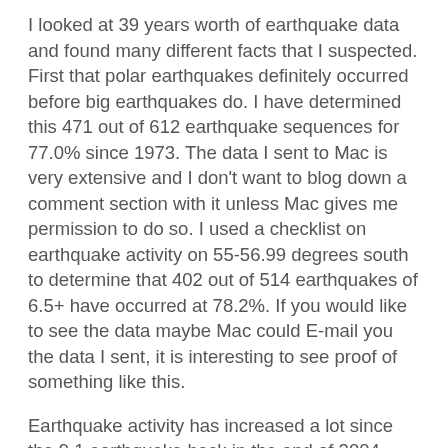I looked at 39 years worth of earthquake data and found many different facts that I suspected. First that polar earthquakes definitely occurred before big earthquakes do. I have determined this 471 out of 612 earthquake sequences for 77.0% since 1973. The data I sent to Mac is very extensive and I don't want to blog down a comment section with it unless Mac gives me permission to do so. I used a checklist on earthquake activity on 55-56.99 degrees south to determine that 402 out of 514 earthquakes of 6.5+ have occurred at 78.2%. If you would like to see the data maybe Mac could E-mail you the data I sent, it is interesting to see proof of something like this.
Earthquake activity has increased a lot since the 9.1 earthquake back in the end of 2004. The plates are really moving, as volcanoes have also increased. I don't have a clue about 2012, but I just know what I see in black and white from the countless hours I have gone over the information. I know that 3